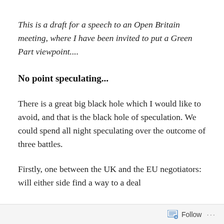This is a draft for a speech to an Open Britain meeting, where I have been invited to put a Green Part viewpoint....
No point speculating...
There is a great big black hole which I would like to avoid, and that is the black hole of speculation. We could spend all night speculating over the outcome of three battles.
Firstly, one between the UK and the EU negotiators: will either side find a way to a deal
Follow ...